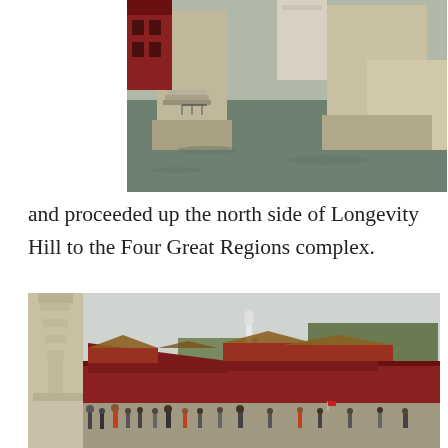[Figure (photo): Close-up view of stone bridge pillars or dam structure with water below and a red Chinese building visible in the background]
and proceeded up the north side of Longevity Hill to the Four Great Regions complex.
[Figure (photo): Aerial view of the Four Great Regions complex with red walls, traditional Chinese rooftops, a stone pagoda on the left, and tourists in the foreground]